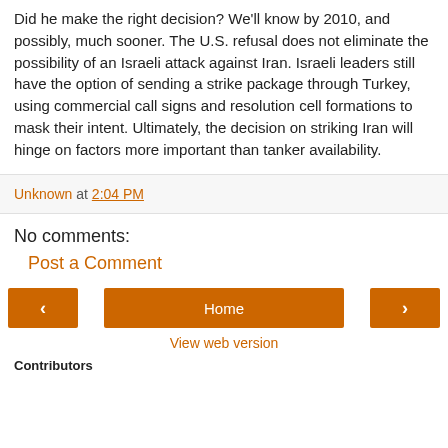Did he make the right decision? We'll know by 2010, and possibly, much sooner. The U.S. refusal does not eliminate the possibility of an Israeli attack against Iran. Israeli leaders still have the option of sending a strike package through Turkey, using commercial call signs and resolution cell formations to mask their intent. Ultimately, the decision on striking Iran will hinge on factors more important than tanker availability.
Unknown at 2:04 PM
No comments:
Post a Comment
[Figure (other): Navigation bar with left arrow button, Home button, and right arrow button, all in orange]
View web version
Contributors